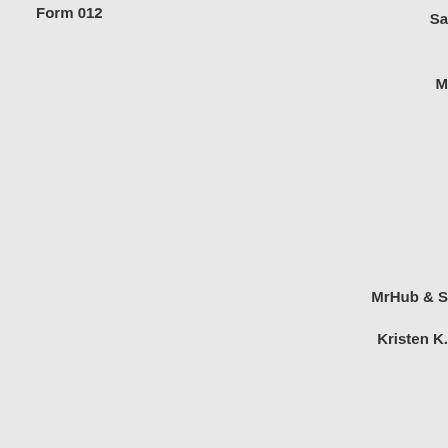Form 012
Sa
M
MrHub & S
Kristen K.